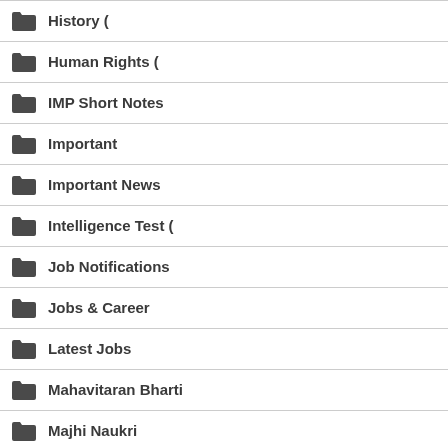History (
Human Rights (
IMP Short Notes
Important
Important News
Intelligence Test (
Job Notifications
Jobs & Career
Latest Jobs
Mahavitaran Bharti
Majhi Naukri
Marathi (
Maths (